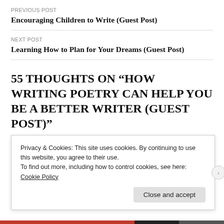PREVIOUS POST
Encouraging Children to Write (Guest Post)
NEXT POST
Learning How to Plan for Your Dreams (Guest Post)
55 THOUGHTS ON “HOW WRITING POETRY CAN HELP YOU BE A BETTER WRITER (GUEST POST)”
doeluvtful
Privacy & Cookies: This site uses cookies. By continuing to use this website, you agree to their use.
To find out more, including how to control cookies, see here: Cookie Policy
Close and accept